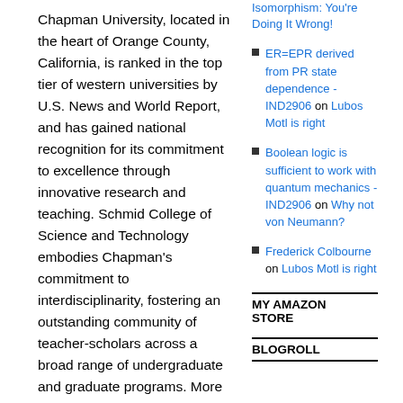Chapman University, located in the heart of Orange County, California, is ranked in the top tier of western universities by U.S. News and World Report, and has gained national recognition for its commitment to excellence through innovative research and teaching. Schmid College of Science and Technology embodies Chapman's commitment to interdisciplinarity, fostering an outstanding community of teacher-scholars across a broad range of undergraduate and graduate programs. More information on the College and its future 140,000 square foot home, the Center for Science and Technology, can be found here: http://www.chapman.edu/scst/index.aspx.
Schmid College Fellows will be responsible
Isomorphism: You're Doing It Wrong!
ER=EPR derived from PR state dependence - IND2906 on Lubos Motl is right
Boolean logic is sufficient to work with quantum mechanics - IND2906 on Why not von Neumann?
Frederick Colbourne on Lubos Motl is right
MY AMAZON STORE
BLOGROLL